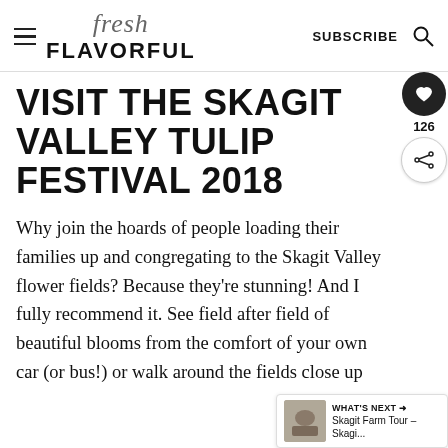fresh FLAVORFUL | SUBSCRIBE
VISIT THE SKAGIT VALLEY TULIP FESTIVAL 2018
Why join the hoards of people loading their families up and congregating to the Skagit Valley flower fields? Because they're stunning! And I fully recommend it. See field after field of beautiful blooms from the comfort of your own car (or bus!) or walk around the fields close up